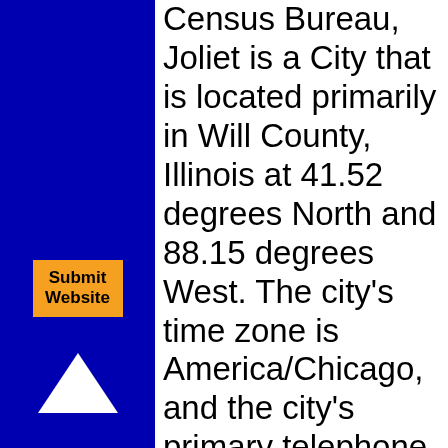[Figure (other): Blue sidebar with orange Submit Website button, white up arrow, and white down arrow]
Census Bureau, Joliet is a City that is located primarily in Will County, Illinois at 41.52 degrees North and 88.15 degrees West. The city's time zone is America/Chicago, and the city's primary telephone area code is 815. The land area of Joliet is about 63.14 square miles, whereas the water area of the city is about 0.66 square miles.
The Census Bureau estimates